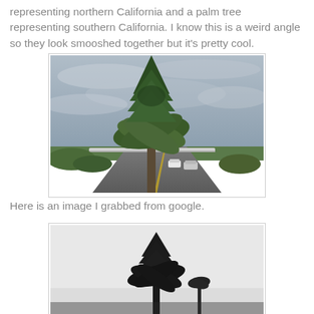representing northern California and a palm tree representing southern California. I know this is a weird angle so they look smooshed together but it's pretty cool.
[Figure (photo): A photograph taken from a moving car on a highway showing a large tree that appears to be a combination of a pine/conifer and a palm tree, with cloudy overcast sky in the background, green roadside vegetation, a highway guardrail, and other vehicles visible on the road.]
Here is an image I grabbed from google.
[Figure (photo): A black and white or desaturated Google image showing the silhouette of trees — appearing to show a conifer and palm tree combined — against a light grey/white background.]